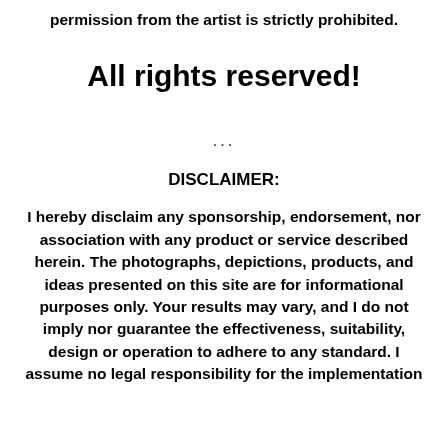permission from the artist is strictly prohibited.
All rights reserved!
...
DISCLAIMER:
I hereby disclaim any sponsorship, endorsement, nor association with any product or service described herein. The photographs, depictions, products, and ideas presented on this site are for informational purposes only. Your results may vary, and I do not imply nor guarantee the effectiveness, suitability, design or operation to adhere to any standard. I assume no legal responsibility for the implementation